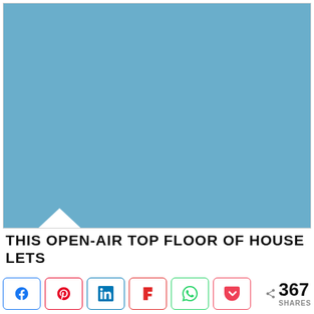[Figure (illustration): Large blue placeholder image area with a white triangular roof/notch shape at the bottom left portion, representing an open-air top floor of a house.]
THIS OPEN-AIR TOP FLOOR OF HOUSE LETS
[Figure (infographic): Social share bar with buttons for Facebook, Pinterest, LinkedIn, Flipboard, WhatsApp, Pocket, and a share count showing 367 SHARES.]